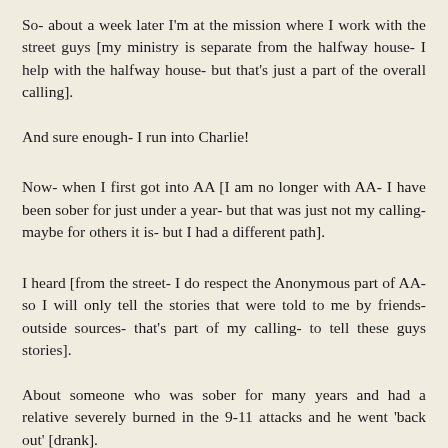So- about a week later I'm at the mission where I work with the street guys [my ministry is separate from the halfway house- I help with the halfway house- but that's just a part of the overall calling].
And sure enough- I run into Charlie!
Now- when I first got into AA [I am no longer with AA- I have been sober for just under a year- but that was just not my calling- maybe for others it is- but I had a different path].
I heard [from the street- I do respect the Anonymous part of AA- so I will only tell the stories that were told to me by friends- outside sources- that's part of my calling- to tell these guys stories].
About someone who was sober for many years and had a relative severely burned in the 9-11 attacks and he went 'back out' [drank].
This story was kind of used- by more than one person- as an example of the dangers of taking that one drink.